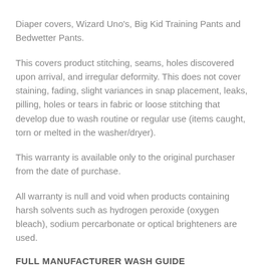Diaper covers, Wizard Uno's, Big Kid Training Pants and Bedwetter Pants.
This covers product stitching, seams, holes discovered upon arrival, and irregular deformity. This does not cover staining, fading, slight variances in snap placement, leaks, pilling, holes or tears in fabric or loose stitching that develop due to wash routine or regular use (items caught, torn or melted in the washer/dryer).
This warranty is available only to the original purchaser from the date of purchase.
All warranty is null and void when products containing harsh solvents such as hydrogen peroxide (oxygen bleach), sodium percarbonate or optical brighteners are used.
FULL MANUFACTURER WASH GUIDE